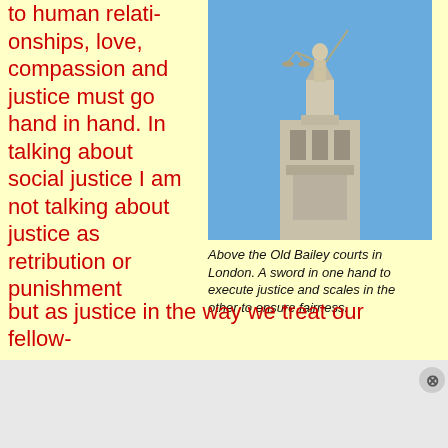to human relationships, love, compassion and justice must go hand in hand. In talking about social justice I am not talking about justice as retribution or punishment but as justice in the way we treat our fellow-
[Figure (photo): Statue of Lady Justice atop the Old Bailey courts in London, holding a sword in one hand and scales in the other, against a blue sky.]
Above the Old Bailey courts in London. A sword in one hand to execute justice and scales in the other to ensure fairness.
Advertisements Search, browse, and email with more privacy. All in One Free App DuckDuckGo